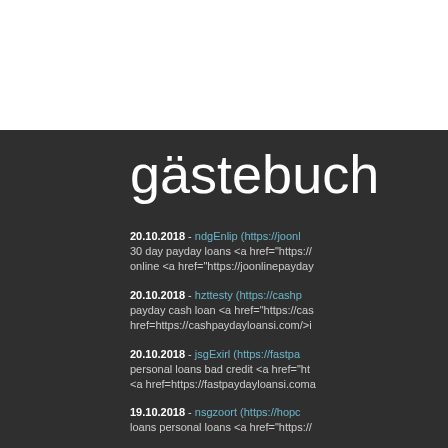gästebuch
20.10.2018 - ndgEnlip (https://joonl... 30 day payday loans <a href="https://... online <a href="https://joonlinepayday...
20.10.2018 - hzttesty (https://cashp... payday cash loan <a href="https://cas... href=https://cashpaydayloansi.com/>i...
20.10.2018 - jsgExirl (https://fastpa... personal loans bad credit <a href="ht... <a href=https://fastpaydayloansi.coma...
19.10.2018 - nsgzoort (https://hopc... loans personal loans <a href="https://...